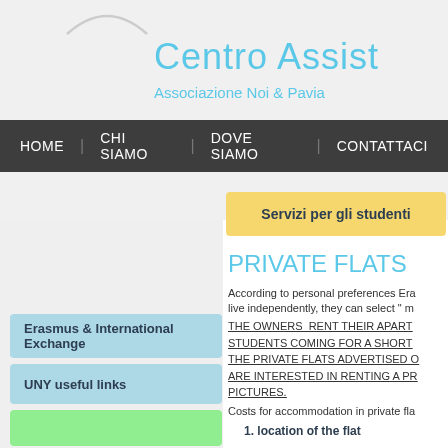[Figure (logo): Arc/curve logo mark at top left]
Centro Assist
Associazione Noi & Pavia
HOME | CHI SIAMO | DOVE SIAMO | CONTATTACI
Servizi per gli studenti
PRIVATE FLATS
According to personal preferences Erasmus students who prefer to live independently, they can select "m
THE OWNERS RENT THEIR APART STUDENTS COMING FOR A SHORT THE PRIVATE FLATS ADVERTISED O ARE INTERESTED IN RENTING A PR PICTURES.
Costs for accommodation in private fla
1. location of the flat
Erasmus & International Exchange
UNY useful links